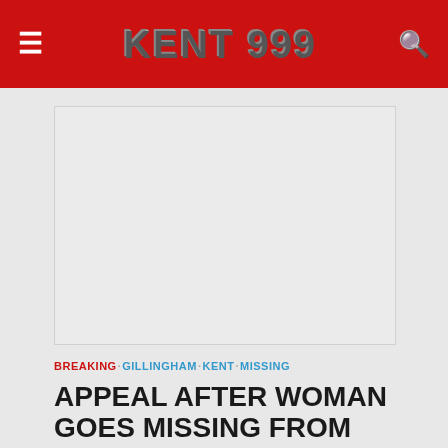KENT 999
[Figure (other): Advertisement or image placeholder, light grey rectangle]
BREAKING · GILLINGHAM · KENT · MISSING
APPEAL AFTER WOMAN GOES MISSING FROM GILLINGHAM AREA